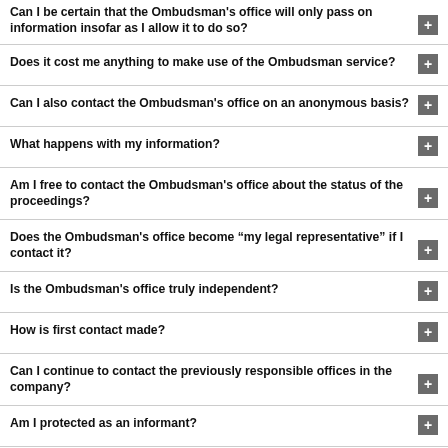Can I be certain that the Ombudsman's office will only pass on information insofar as I allow it to do so?
Does it cost me anything to make use of the Ombudsman service?
Can I also contact the Ombudsman's office on an anonymous basis?
What happens with my information?
Am I free to contact the Ombudsman's office about the status of the proceedings?
Does the Ombudsman's office become “my legal representative” if I contact it?
Is the Ombudsman's office truly independent?
How is first contact made?
Can I continue to contact the previously responsible offices in the company?
Am I protected as an informant?
How is misuse of the service (denunciation) prevented?